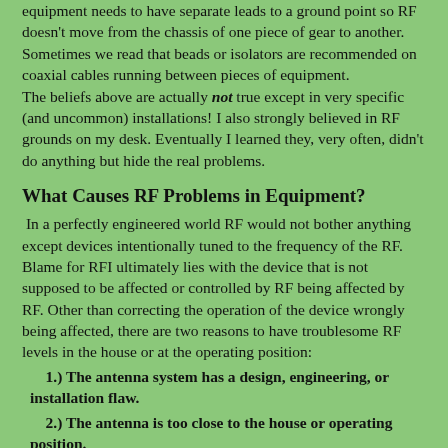equipment needs to have separate leads to a ground point so RF doesn't move from the chassis of one piece of gear to another. Sometimes we read that beads or isolators are recommended on coaxial cables running between pieces of equipment. The beliefs above are actually not true except in very specific (and uncommon) installations! I also strongly believed in RF grounds on my desk. Eventually I learned they, very often, didn't do anything but hide the real problems.
What Causes RF Problems in Equipment?
In a perfectly engineered world RF would not bother anything except devices intentionally tuned to the frequency of the RF. Blame for RFI ultimately lies with the device that is not supposed to be affected or controlled by RF being affected by RF. Other than correcting the operation of the device wrongly being affected, there are two reasons to have troublesome RF levels in the house or at the operating position:
1.) The antenna system has a design, engineering, or installation flaw.
2.) The antenna is too close to the house or operating position.
3.) The problem is not RF at all, but is a DC power supply